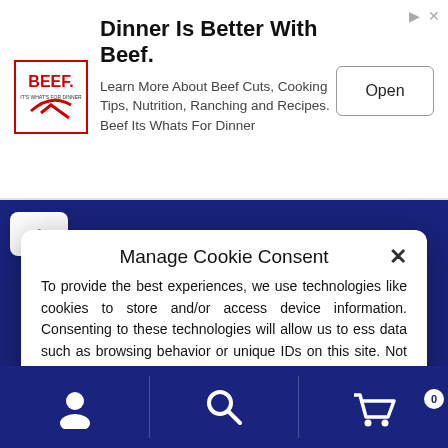[Figure (screenshot): Advertisement banner for Beef. Shows BEEF logo, heading 'Dinner Is Better With Beef.', body text about beef cuts, cooking tips, nutrition, ranching and recipes, and an Open button.]
Dinner Is Better With Beef.
Learn More About Beef Cuts, Cooking Tips, Nutrition, Ranching and Recipes. Beef Its Whats For Dinner
Manage Cookie Consent
To provide the best experiences, we use technologies like cookies to store and/or access device information. Consenting to these technologies will allow us to ess data such as browsing behavior or unique IDs on this site. Not consenting ithrawing consent, may adversely affect certain features and functions.
Accept
Opt-out preferences
Privacy Statement
Imprint
[Figure (screenshot): BuySafe Guaranteed badge on left side]
[Figure (screenshot): Bottom navigation bar with user, search, and shopping cart icons on dark blue background]